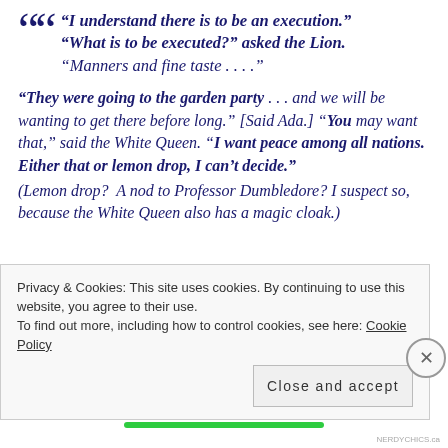“I understand there is to be an execution.” “What is to be executed?” asked the Lion. “Manners and fine taste . . . .”
“They were going to the garden party . . . and we will be wanting to get there before long.” [Said Ada.] “You may want that,” said the White Queen. “I want peace among all nations. Either that or lemon drop, I can’t decide.”
(Lemon drop?  A nod to Professor Dumbledore? I suspect so, because the White Queen also has a magic cloak.)
Privacy & Cookies: This site uses cookies. By continuing to use this website, you agree to their use. To find out more, including how to control cookies, see here: Cookie Policy
Close and accept